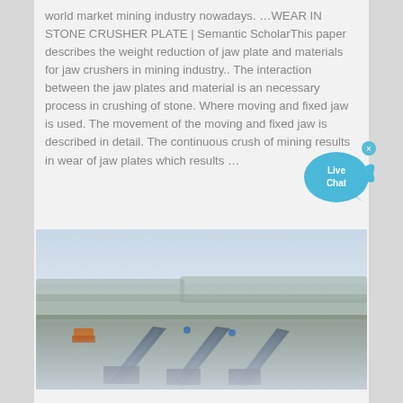world market mining industry nowadays. ...WEAR IN STONE CRUSHER PLATE | Semantic ScholarThis paper describes the weight reduction of jaw plate and materials for jaw crushers in mining industry.. The interaction between the jaw plates and material is an necessary process in crushing of stone. Where moving and fixed jaw is used. The movement of the moving and fixed jaw is described in detail. The continuous crush of mining results in wear of jaw plates which results ...
[Figure (photo): Aerial or elevated view of an outdoor mining/quarrying site with conveyor belts and heavy machinery. Workers visible on the conveyors. Background shows a flat landscape with sparse trees and hazy sky.]